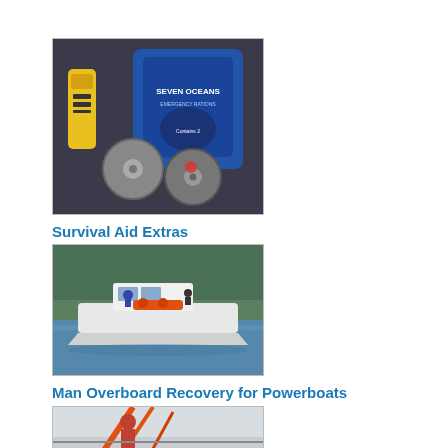[Figure (photo): Product image showing survival aid extras: a yellow EPIRB/PLB beacon, a blue Seven Oceans emergency ration bag, and two silver circular discs on a dark surface]
Survival Aid Extras
$100.00
[Figure (photo): Photo of a powerboat on water with people on deck, surrounded by trees in the background]
Man Overboard Recovery for Powerboats
$3,750.00
[Figure (photo): Partial photo showing a person on a sailboat deck with orange rigging or ropes visible]